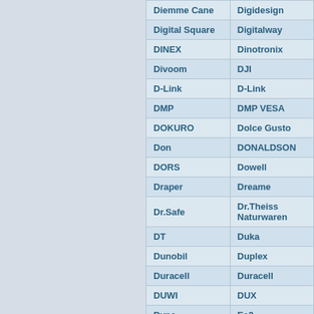| Brand (left) | Brand (right) |
| --- | --- |
| Diemme Cane | Digidesign |
| Digital Square | Digitalway |
| DINEX | Dinotronix |
| Divoom | DJI |
| D-Link | D-Link |
| DMP | DMP VESA |
| DOKURO | Dolce Gusto |
| Don | DONALDSON |
| DORS | Dowell |
| Draper | Dreame |
| Dr.Safe | Dr.Theiss Naturwaren |
| DT | Duka |
| Dunobil | Duplex |
| Duracell | Duracell |
| DUWI | DUX |
| Dyne | Ea2 |
| EBERSPAECHER | ECHO |
| ECON | ECOS |
| Edifier | Edifier |
| Edisson | Elco |